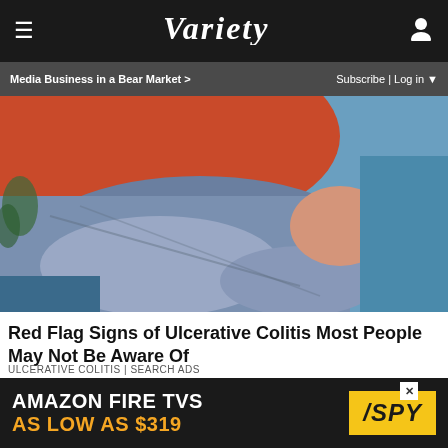Variety — Media Business in a Bear Market > Subscribe | Log in
[Figure (photo): Person in red shirt and jeans sitting on a blue couch, clutching their knee/stomach area, suggesting pain or discomfort]
Red Flag Signs of Ulcerative Colitis Most People May Not Be Aware Of
ULCERATIVE COLITIS | SEARCH ADS
[Figure (photo): Partial second article image strip with dark and gold/yellow tones]
[Figure (infographic): Advertisement banner: AMAZON FIRE TVS AS LOW AS $319, with SPY logo on yellow background]